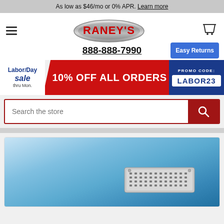As low as $46/mo or 0% APR. Learn more
[Figure (logo): Raney's truck accessories logo — stylized chrome oval with red RANEY'S text]
888-888-7990
Easy Returns
[Figure (infographic): Labor Day Sale banner — 10% OFF ALL ORDERS, PROMO CODE: LABOR23]
Search the store
[Figure (photo): Close-up photo of a blue truck hood/fender with a chrome vent/grille accessory installed]